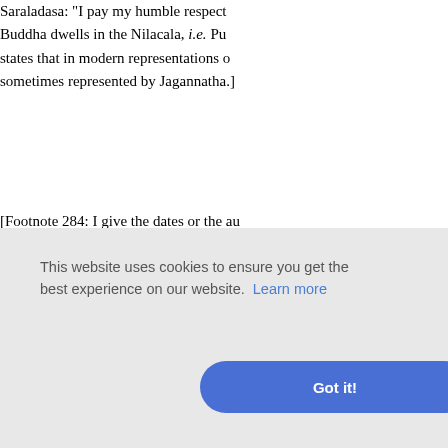Saraladasa: "I pay my humble respect... Buddha dwells in the Nilacala, i.e. Pu... states that in modern representations o... sometimes represented by Jagannatha.]
[Footnote 284: I give the dates or the au... be somewhat too early. The two aut... Mahatmya respectively.]
[Footnote 285: l.c. clxxvi ff., ccxix-ccxx...
[Footnote 286: Author of a poem called...
ccxxxii.]
l Sastri, ... ar, Folkl... rvival in ...